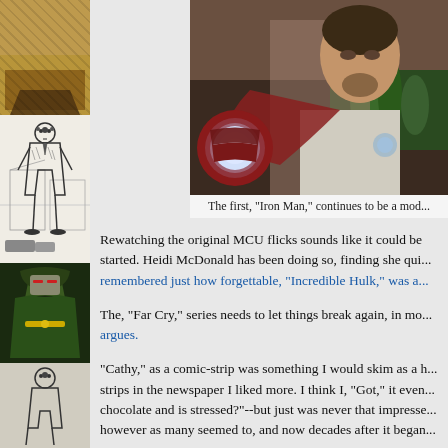[Figure (illustration): Left sidebar with four comic/illustration panels stacked vertically: top panel shows a textured brownish illustration, second panel shows a black and white figure sketch of a tall person in a suit, third panel shows a figure with green hood/cape (Doctor Doom style), fourth partial panel shows another sketch figure at bottom.]
[Figure (photo): Photo of a man (Robert Downey Jr. as Iron Man) wearing Iron Man gauntlet with glowing arc reactor palm piece, pointing it toward camera, wearing a grey tank top, with green bottles in background.]
The first, "Iron Man," continues to be a mod...
Rewatching the original MCU flicks sounds like it could be started. Heidi McDonald has been doing so, finding she qui... remembered just how forgettable, "Incredible Hulk," was a...
The, "Far Cry," series needs to let things break again, in mo... argues.
"Cathy," as a comic-strip was something I would skim as a h... strips in the newspaper I liked more. I think I, "Got," it even... chocolate and is stressed?"--but just was never that impresse... however as many seemed to, and now decades after it began...